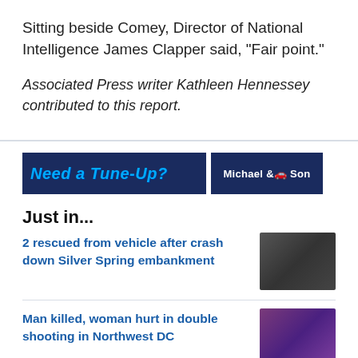Sitting beside Comey, Director of National Intelligence James Clapper said, "Fair point."
Associated Press writer Kathleen Hennessey contributed to this report.
[Figure (infographic): Advertisement banner for Michael & Son - 'Need a Tune-Up?']
Just in...
2 rescued from vehicle after crash down Silver Spring embankment
[Figure (photo): Thumbnail image for Silver Spring crash story]
Man killed, woman hurt in double shooting in Northwest DC
[Figure (photo): Thumbnail image for Northwest DC shooting story]